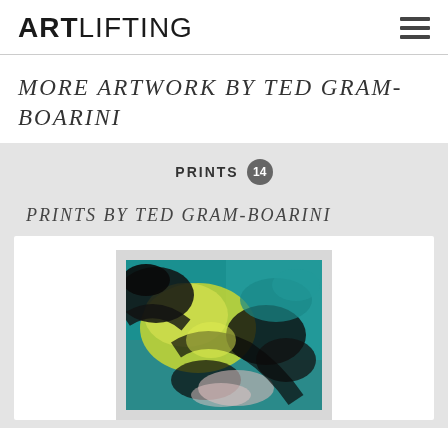ARTLIFTING
MORE ARTWORK BY TED GRAM-BOARINI
PRINTS 14
PRINTS BY TED GRAM-BOARINI
[Figure (photo): Abstract painting with teal, black, yellow-green, and light pink swirling colors — artwork by Ted Gram-Boarini]